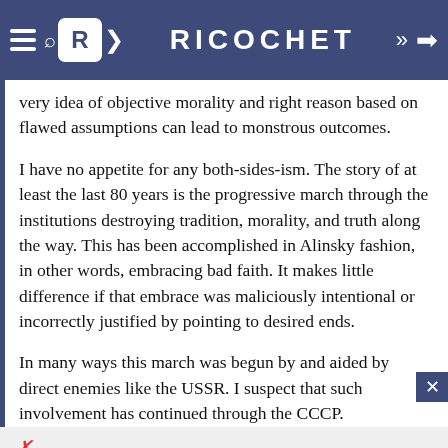RICOCHET
very idea of objective morality and right reason based on flawed assumptions can lead to monstrous outcomes.
I have no appetite for any both-sides-ism. The story of at least the last 80 years is the progressive march through the institutions destroying tradition, morality, and truth along the way. This has been accomplished in Alinsky fashion, in other words, embracing bad faith. It makes little difference if that embrace was maliciously intentional or incorrectly justified by pointing to desired ends.
In many ways this march was begun by and aided by direct enemies like the USSR. I suspect that such involvement has continued through the CCCP.